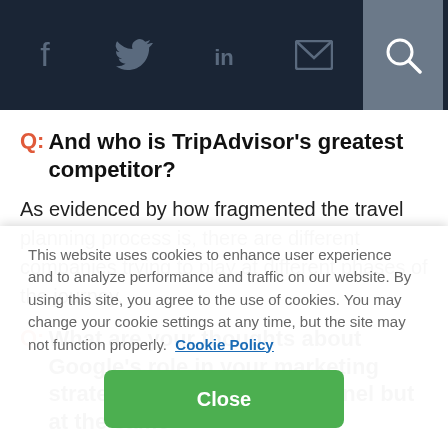Social media navigation bar with icons: Facebook, Twitter, LinkedIn, Email, Search
Q: And who is TripAdvisor's greatest competitor?
As evidenced by how fragmented the travel planning process is, there are different companies trying to play at different phases of the journey.
Q: What are your thoughts about Google's role in your marketing strategy – it's a critical channel but at the same time...
This website uses cookies to enhance user experience and to analyze performance and traffic on our website. By using this site, you agree to the use of cookies. You may change your cookie settings at any time, but the site may not function properly. Cookie Policy
Close